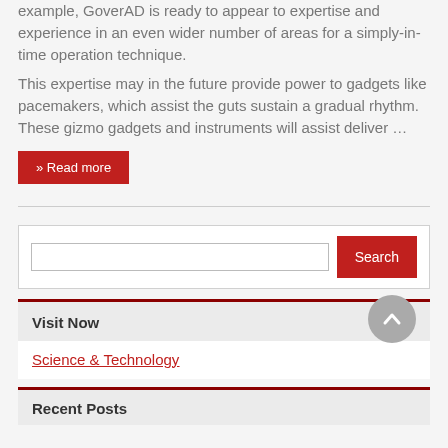example, GoverAD is ready to appear to expertise and experience in an even wider number of areas for a simply-in-time operation technique.
This expertise may in the future provide power to gadgets like pacemakers, which assist the guts sustain a gradual rhythm. These gizmo gadgets and instruments will assist deliver …
Read more
Search
Visit Now
Science & Technology
Recent Posts